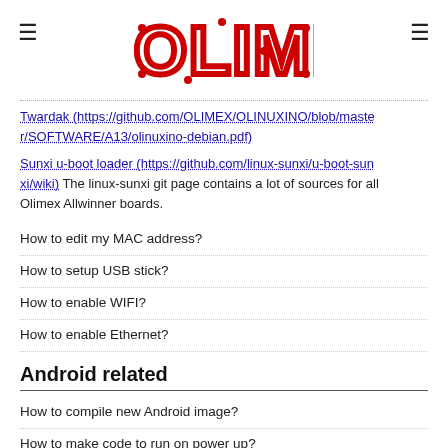[Figure (logo): OLIMEX logo in red stylized circuit-board lettering]
Twardak (https://github.com/OLIMEX/OLINUXINO/blob/master/SOFTWARE/A13/olinuxino-debian.pdf)
Sunxi u-boot loader (https://github.com/linux-sunxi/u-boot-sunxi/wiki) The linux-sunxi git page contains a lot of sources for all Olimex Allwinner boards.
How to edit my MAC address?
How to setup USB stick?
How to enable WIFI?
How to enable Ethernet?
Android related
How to compile new Android image?
How to make code to run on power up?